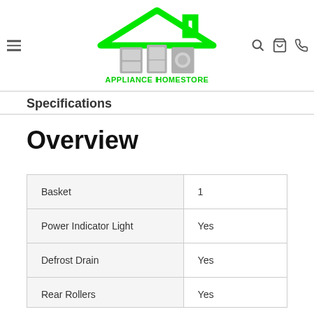Appliance HomeStore — Making Your Home Better
Specifications
Overview
|  |  |
| --- | --- |
| Basket | 1 |
| Power Indicator Light | Yes |
| Defrost Drain | Yes |
| Rear Rollers | Yes |